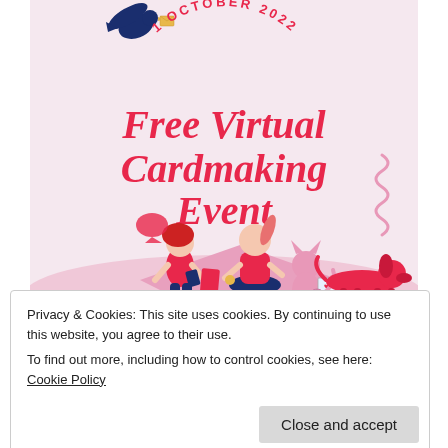[Figure (illustration): Event promotional banner with pink/light rose background. At the top, text '1 OCTOBER 2022' in curved red letters above large bold red decorative text 'Free Virtual Cardmaking Event'. A dark blue bird (dove/pigeon) with an envelope flies in the upper-left. Below, illustrated characters: two girls crafting on a pink blanket surrounded by craft supplies, a pink cat holding an envelope, a pink dachshund dog, and a spiral/coil shape to the right.]
Privacy & Cookies: This site uses cookies. By continuing to use this website, you agree to their use.
To find out more, including how to control cookies, see here: Cookie Policy
[Figure (other): Partial view of teal/turquoise social media icons at the bottom of the page]